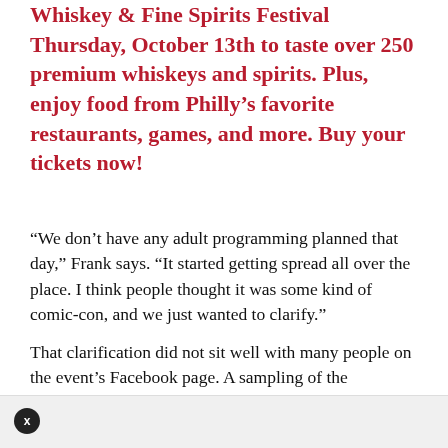Whiskey & Fine Spirits Festival Thursday, October 13th to taste over 250 premium whiskeys and spirits. Plus, enjoy food from Philly's favorite restaurants, games, and more. Buy your tickets now!
“We don’t have any adult programming planned that day,” Frank says. “It started getting spread all over the place. I think people thought it was some kind of comic-con, and we just wanted to clarify.”
That clarification did not sit well with many people on the event’s Facebook page. A sampling of the comments (and by sampling, we mean “ones picked specifically for their entertainment value”):